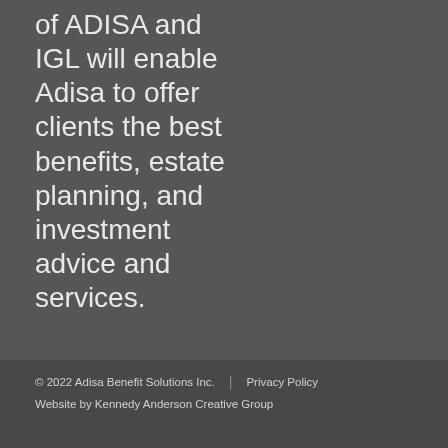of ADISA and IGL will enable Adisa to offer clients the best benefits, estate planning, and investment advice and services.
© 2022 Adisa Benefit Solutions Inc. | Privacy Policy
Website by Kennedy Anderson Creative Group